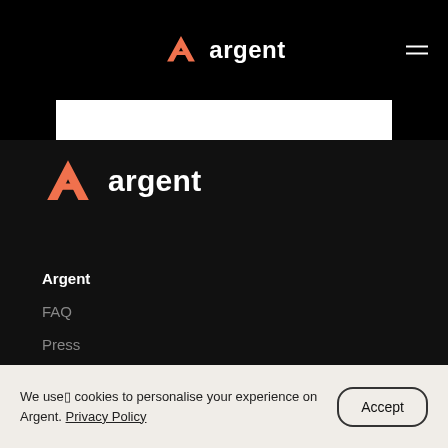argent
[Figure (logo): Argent logo with orange chevron/arrow icon and white 'argent' wordmark in top navigation bar]
[Figure (logo): Argent logo with orange chevron/arrow icon and white 'argent' wordmark in footer section]
Argent
FAQ
Press
Community Coverage
We use cookies to personalise your experience on Argent. Privacy Policy